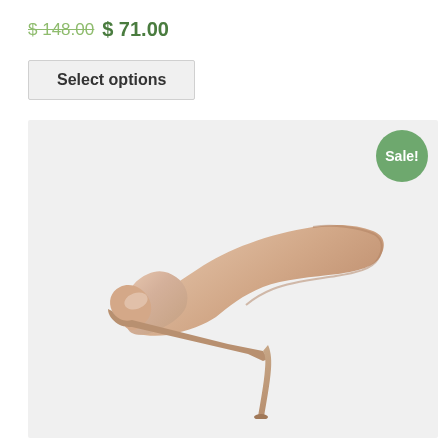$ 148.00 $ 71.00
Select options
[Figure (photo): A nude/beige patent leather stiletto pump high-heel shoe displayed on a light grey background, with a 'Sale!' badge in green circle at the top right corner of the product image area.]